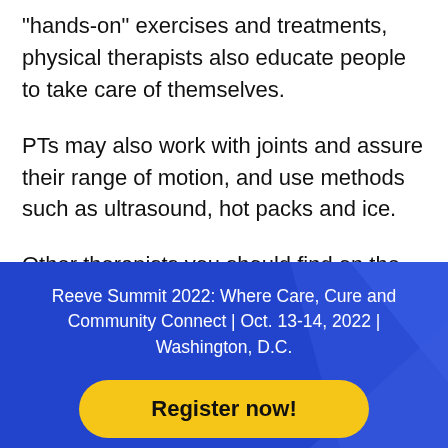"hands-on" exercises and treatments, physical therapists also educate people to take care of themselves.
PTs may also work with joints and assure their range of motion, and use methods such as ultrasound, hot packs and ice.
Other therapists you should find on the rehab unit include:
Reeve Summit 2022: Where Care, Cure and Community Connect | Oct. 13-14, 2022 | Washington, D.C.
Register now!